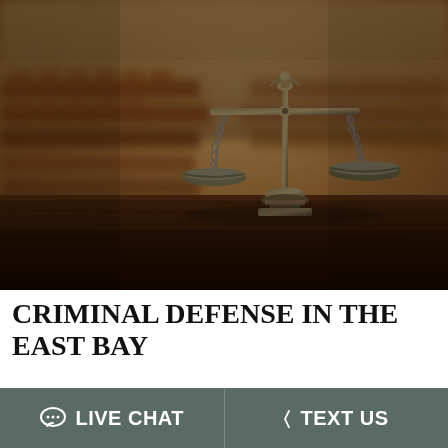[Figure (photo): Photograph of a courtroom interior with blurred wooden benches and chairs in warm amber tones, with a bronze scales of justice statue prominently displayed in the foreground on a dark wooden surface.]
CRIMINAL DEFENSE IN THE EAST BAY
If you have been arrested on criminal charges in
LIVE CHAT   TEXT US